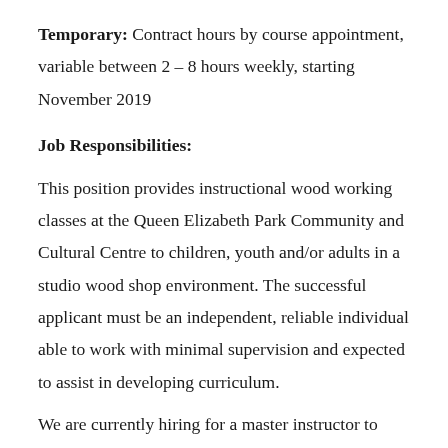Temporary: Contract hours by course appointment, variable between 2 – 8 hours weekly, starting November 2019
Job Responsibilities:
This position provides instructional wood working classes at the Queen Elizabeth Park Community and Cultural Centre to children, youth and/or adults in a studio wood shop environment. The successful applicant must be an independent, reliable individual able to work with minimal supervision and expected to assist in developing curriculum.
We are currently hiring for a master instructor to teach